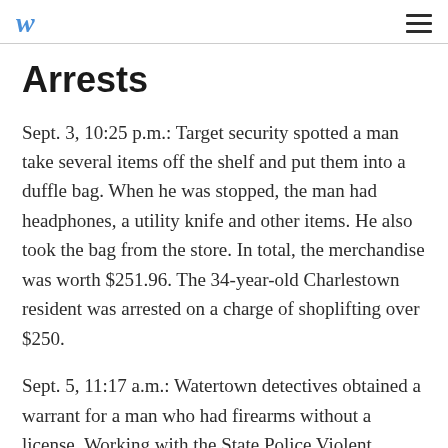w ≡
Arrests
Sept. 3, 10:25 p.m.: Target security spotted a man take several items off the shelf and put them into a duffle bag. When he was stopped, the man had headphones, a utility knife and other items. He also took the bag from the store. In total, the merchandise was worth $251.96. The 34-year-old Charlestown resident was arrested on a charge of shoplifting over $250.
Sept. 5, 11:17 a.m.: Watertown detectives obtained a warrant for a man who had firearms without a license. Working with the State Police Violent Fugitive